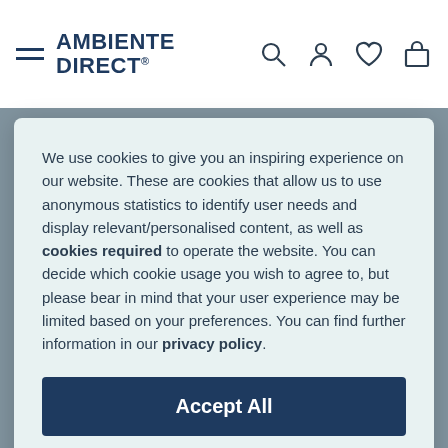AMBIENTE DIRECT
We use cookies to give you an inspiring experience on our website. These are cookies that allow us to use anonymous statistics to identify user needs and display relevant/personalised content, as well as cookies required to operate the website. You can decide which cookie usage you wish to agree to, but please bear in mind that your user experience may be limited based on your preferences. You can find further information in our privacy policy.
Accept All
Manage
Top categories
Lighting